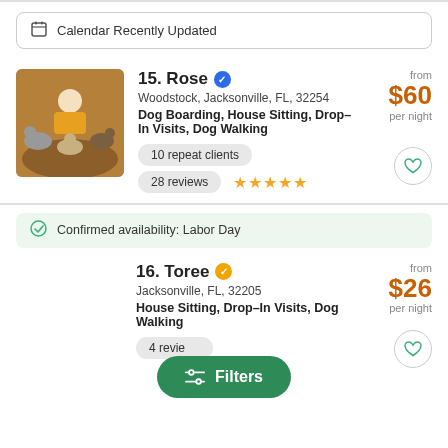Calendar Recently Updated
15. Rose — Woodstock, Jacksonville, FL, 32254 — Dog Boarding, House Sitting, Drop-In Visits, Dog Walking — 10 repeat clients — 28 reviews — from $60 per night
Confirmed availability: Labor Day
16. Toree — Jacksonville, FL, 32205 — House Sitting, Drop-In Visits, Dog Walking — 4 reviews — from $26 per night
Filters